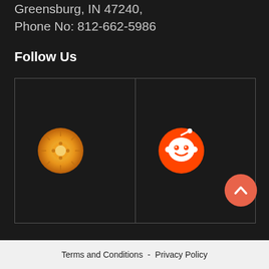Greensburg, IN 47240,
Phone No: 812-662-5986
Follow Us
[Figure (infographic): Two social media icon cells side by side in a bordered grid. Left cell: golden/orange circular icon with radiating sun/gear pattern. Right cell: Reddit orange circle logo with alien mascot.]
[Figure (other): Orange semi-circle scroll-to-top button with upward chevron arrow, bottom right corner.]
Terms and Conditions - Privacy Policy